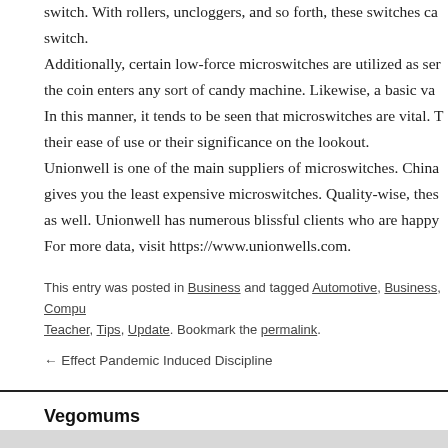switch. With rollers, uncloggers, and so forth, these switches ca... switch. Additionally, certain low-force microswitches are utilized as ser... the coin enters any sort of candy machine. Likewise, a basic va... In this manner, it tends to be seen that microswitches are vital. T... their ease of use or their significance on the lookout. Unionwell is one of the main suppliers of microswitches. China... gives you the least expensive microswitches. Quality-wise, thes... as well. Unionwell has numerous blissful clients who are happy... For more data, visit https://www.unionwells.com.
This entry was posted in Business and tagged Automotive, Business, Compu... Teacher, Tips, Update. Bookmark the permalink.
← Effect Pandemic Induced Discipline
Vegomums